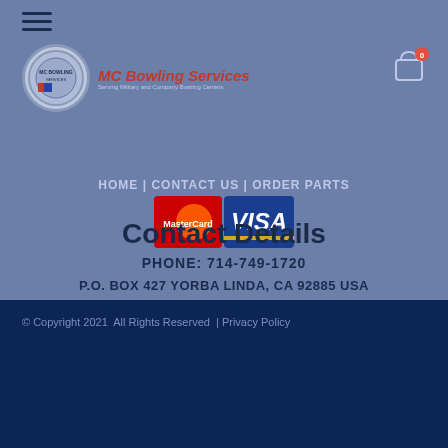[Figure (logo): MC Bowling Services logo with circular emblem and red italic text]
[Figure (other): Shopping cart icon with badge showing 0]
HOME | CONTACT US | ORDER PARTS
[Figure (other): MasterCard and VISA payment logos]
Contact Details
PHONE: 714-749-1720
P.O. BOX 427 YORBA LINDA, CA 92885 USA
© Copyright 2021  All Rights Reserved  | Privacy Policy